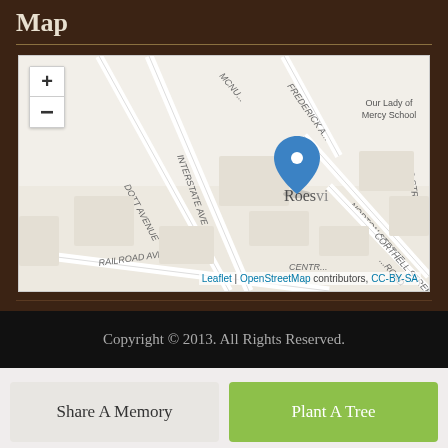Map
[Figure (map): Street map showing Roesville area with a blue location pin marker. Streets visible include Interstate Ave., McNu..., Frederick A..., Dott Avenue, Norton Street, Corthell Street, Railroad Avenue, Laing Street. 'Our Lady of Mercy School' labeled. Map attribution: Leaflet | OpenStreetMap contributors, CC-BY-SA. Zoom controls (+/-) in top left.]
Copyright © 2013. All Rights Reserved.
Share A Memory
Plant A Tree